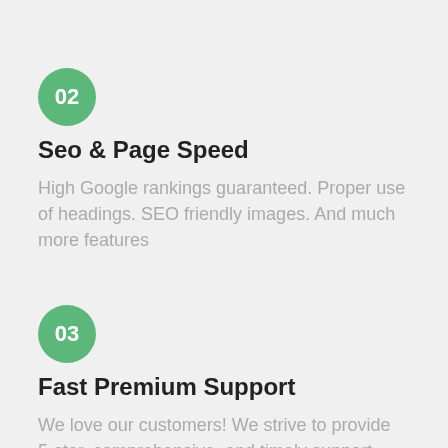[Figure (infographic): Green circle badge with number 02]
Seo & Page Speed
High Google rankings guaranteed. Proper use of headings. SEO friendly images. And much more features
[Figure (infographic): Green circle badge with number 03]
Fast Premium Support
We love our customers! We strive to provide 5-star, comprehensive, and timely support whenever you need